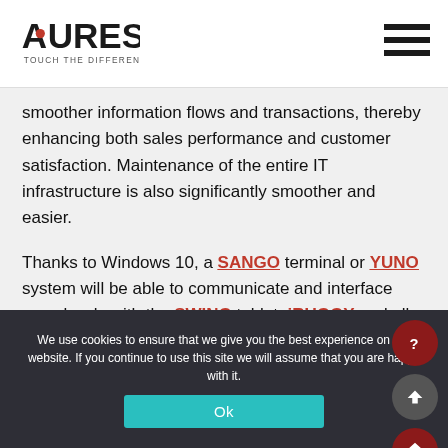AURES - TOUCH THE DIFFERENCE
smoother information flows and transactions, thereby enhancing both sales performance and customer satisfaction. Maintenance of the entire IT infrastructure is also significantly smoother and easier.
Thanks to Windows 10, a SANGO terminal or YUNO system will be able to communicate and interface seamlessly with the SWING tablet, iRUGGY and all AURES POS devices and
We use cookies to ensure that we give you the best experience on our website. If you continue to use this site we will assume that you are happy with it.